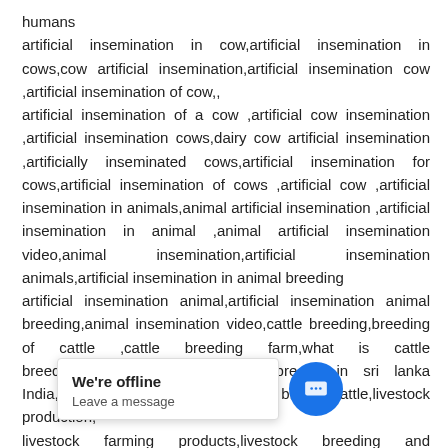humans
artificial insemination in cow,artificial insemination in cows,cow artificial insemination,artificial insemination cow ,artificial insemination of cow,,
artificial insemination of a cow ,artificial cow insemination ,artificial insemination cows,dairy cow artificial insemination ,artificially inseminated cows,artificial insemination for cows,artificial insemination of cows ,artificial cow ,artificial insemination in animals,animal artificial insemination ,artificial insemination in animal ,animal artificial insemination video,animal insemination,artificial insemination animals,artificial insemination in animal breeding
artificial insemination animal,artificial insemination animal breeding,animal insemination video,cattle breeding,breeding of cattle ,cattle breeding farm,what is cattle breeding,breeding in cattle,cattle breeds in sri lanka India,crossbred cattle breeds,dairy breed cattle,livestock production,
livestock farming products,livestock breeding and nutrition,cattle livestock,animal livestock ... ock, al insemination of livestock ... oo... t is li... ck artificial insemination in ...